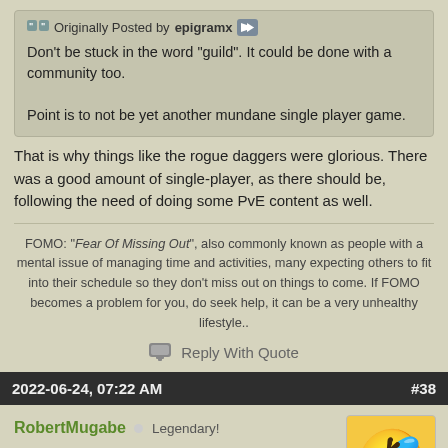Originally Posted by epigramx
Don't be stuck in the word "guild". It could be done with a community too.

Point is to not be yet another mundane single player game.
That is why things like the rogue daggers were glorious. There was a good amount of single-player, as there should be, following the need of doing some PvE content as well.
FOMO: "Fear Of Missing Out", also commonly known as people with a mental issue of managing time and activities, many expecting others to fit into their schedule so they don't miss out on things to come. If FOMO becomes a problem for you, do seek help, it can be a very unhealthy lifestyle..
Reply With Quote
2022-06-24, 07:22 AM   #38
RobertMugabe  Legendary!
[Figure (illustration): Laughing emoji avatar - yellow face with tears of joy]
[Figure (photo): Advertisement banner for ULTA beauty shop showing makeup products and eyes]